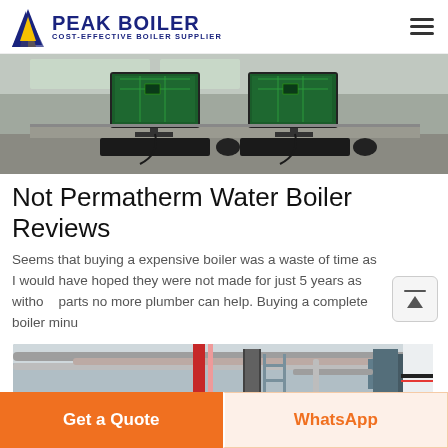PEAK BOILER - COST-EFFECTIVE BOILER SUPPLIER
[Figure (photo): Computer workstation desks with two monitors displaying green circuit board images, keyboards, and cables in what appears to be a lab or office setting]
Not Permatherm Water Boiler Reviews
Seems that buying a expensive boiler was a waste of time as I would have hoped they were not made for just 5 years as without parts no more plumber can help. Buying a complete boiler minu
[Figure (photo): Industrial boiler room interior showing pipes, red piping, scaffolding, and industrial equipment on ceiling and walls]